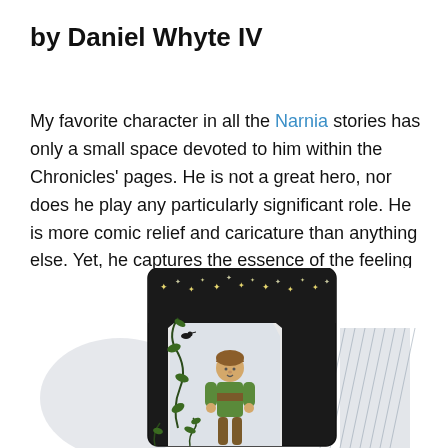by Daniel Whyte IV
My favorite character in all the Narnia stories has only a small space devoted to him within the Chronicles' pages. He is not a great hero, nor does he play any particularly significant role. He is more comic relief and caricature than anything else. Yet, he captures the essence of the feeling that Lewis found himself seeking throughout his life.
[Figure (illustration): A colored illustration of a young boy standing in an ornate archway decorated with stars and floral patterns. The archway has a Moorish/Gothic style with a pointed top. The boy has brown hair and is wearing a green and brown outfit. Decorative plant vines run along the left side of the arch. The background shows a light blue-grey sky. The image appears to be from a book illustration, possibly depicting a Narnia character.]